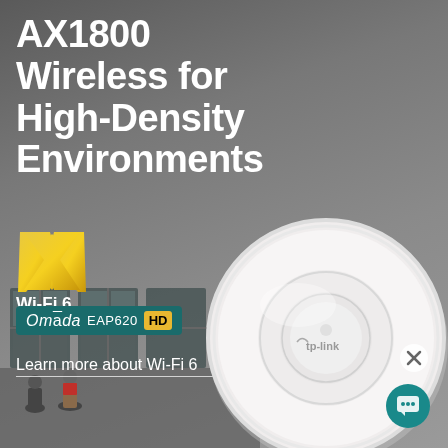AX1800 Wireless for High-Density Environments
[Figure (logo): Wi-Fi 6 certification logo — golden X shape with 'Wi-Fi 6' text below]
[Figure (logo): Omada EAP620 HD product badge — teal background with white Omada text, EAP620 label, and yellow HD badge]
Learn more about Wi-Fi 6
[Figure (photo): TP-Link Omada EAP620 HD ceiling-mount Wi-Fi 6 access point — white circular device mounted on ceiling, shown from below at an angle against grey wall background with interior building scene featuring people sitting]
[Figure (other): Chat/message icon button (teal circular button) with close X button above it]